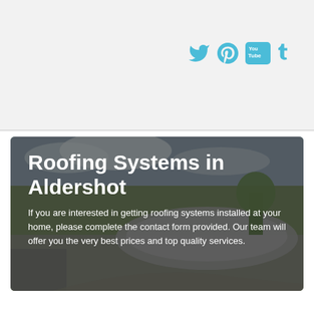[Figure (other): Social media icons: Twitter, Pinterest, YouTube, Tumblr in teal/cyan color on light grey background]
[Figure (photo): Aerial/drone photograph of a curved modern building with roofing, surrounded by trees and parking areas, with dark semi-transparent overlay and white text overlay reading 'Roofing Systems in Aldershot' with descriptive paragraph]
Roofing Systems in Aldershot
If you are interested in getting roofing systems installed at your home, please complete the contact form provided. Our team will offer you the very best prices and top quality services.